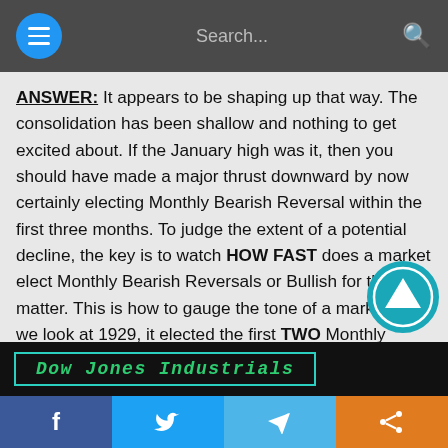Search...
ANSWER: It appears to be shaping up that way. The consolidation has been shallow and nothing to get excited about. If the January high was it, then you should have made a major thrust downward by now certainly electing Monthly Bearish Reversal within the first three months. To judge the extent of a potential decline, the key is to watch HOW FAST does a market elect Monthly Bearish Reversals or Bullish for that matter. This is how to gauge the tone of a market. If we look at 1929, it elected the first TWO Monthly Bearish Reversals in just one month from the high. That was obviously a signal that this was going to be a protracted decline of MAJOR importance.
[Figure (screenshot): Dow Jones Industrials chart label on black background]
f  [Twitter]  [Telegram]  [Share]